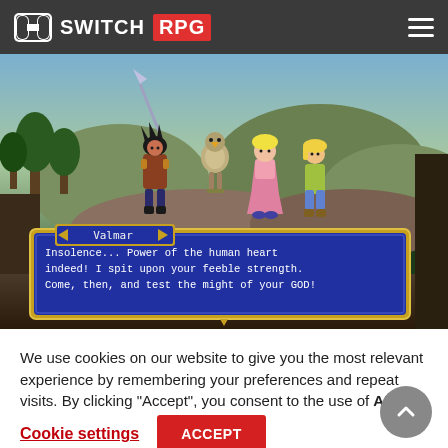SWITCH RPG
[Figure (screenshot): Game screenshot from an RPG (Lunar: Silver Star Story or similar) showing several 3D characters standing on a platform in a fantasy outdoor setting. A dialogue box at the bottom shows the character Valmar saying: 'Insolence... Power of the human heart indeed! I spit upon your feeble strength. Come, then, and test the might of your GOD!']
We use cookies on our website to give you the most relevant experience by remembering your preferences and repeat visits. By clicking "Accept", you consent to the use of ALL the cookies.
Cookie settings
ACCEPT